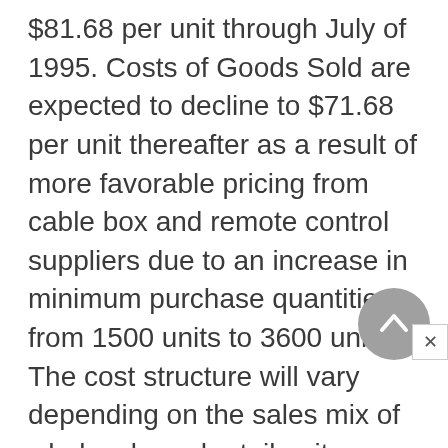$81.68 per unit through July of 1995. Costs of Goods Sold are expected to decline to $71.68 per unit thereafter as a result of more favorable pricing from cable box and remote control suppliers due to an increase in minimum purchase quantities from 1500 units to 3600 units. The cost structure will vary depending on the sales mix of wholesale and retail units. Retail units will carry a slightly higher cost per unit but will maintain a significantly higher gross margin as compared to